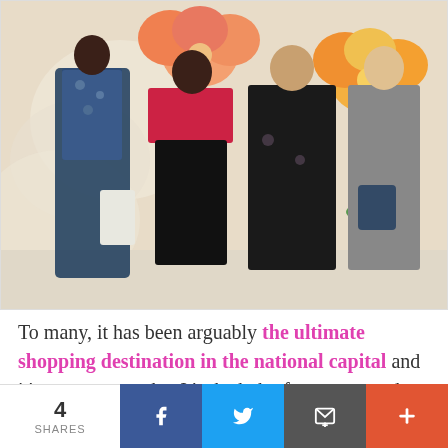[Figure (photo): Four people posing together in front of a floral backdrop with large decorative paper flowers in orange and yellow. From left: a tall man in a floral shirt and dark pants, a woman in a red top and black skirt, a woman in a black floral dress, and a woman in a grey outfit holding a navy bag.]
To many, it has been arguably the ultimate shopping destination in the national capital and it's easy to see why. It's the hub of transport and
4 SHARES | Facebook | Twitter | Email | More